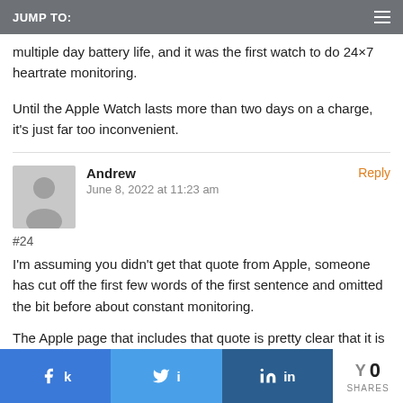JUMP TO:
multiple day battery life, and it was the first watch to do 24×7 heartrate monitoring.
Until the Apple Watch lasts more than two days on a charge, it's just far too inconvenient.
Andrew
June 8, 2022 at 11:23 am
#24
I'm assuming you didn't get that quote from Apple, someone has cut off the first few words of the first sentence and omitted the bit before about constant monitoring.
The Apple page that includes that quote is pretty clear that it is
0 SHARES